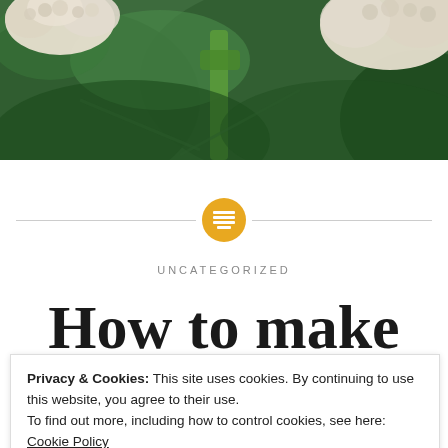[Figure (photo): Close-up photo of fresh cauliflower and green leaves/vegetables]
UNCATEGORIZED
How to make fritters for
Privacy & Cookies: This site uses cookies. By continuing to use this website, you agree to their use.
To find out more, including how to control cookies, see here: Cookie Policy
Close and accept